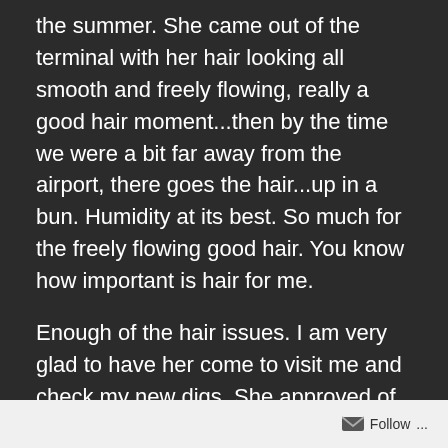the summer.  She came out of the terminal with her hair looking all smooth and freely flowing, really a good hair moment...then by the time we were a bit far away from the airport, there goes the hair...up in a bun.  Humidity at its best.  So much for the freely flowing good hair.  You know how important is hair for me.
Enough of the hair issues.  I am very glad to have her come to visit me and check my new digs.  She approved of my new pad and...wait a minute, this posting is mainly supposed to be about the incredible tasting and great looking food showing on the picture above.
Follow ...